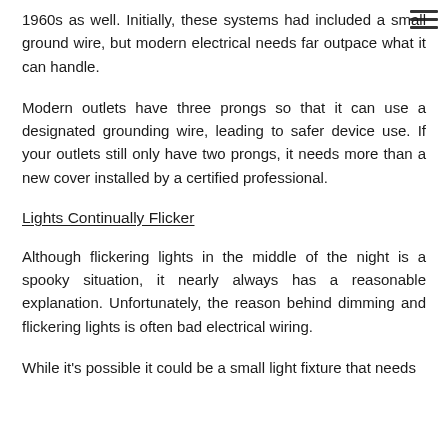1960s as well. Initially, these systems had included a small ground wire, but modern electrical needs far outpace what it can handle.
Modern outlets have three prongs so that it can use a designated grounding wire, leading to safer device use. If your outlets still only have two prongs, it needs more than a new cover installed by a certified professional.
Lights Continually Flicker
Although flickering lights in the middle of the night is a spooky situation, it nearly always has a reasonable explanation. Unfortunately, the reason behind dimming and flickering lights is often bad electrical wiring.
While it's possible it could be a small light fixture that needs